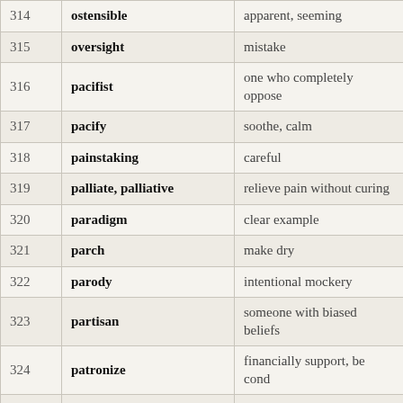| # | Word | Definition |
| --- | --- | --- |
| 314 | ostensible | apparent, seeming |
| 315 | oversight | mistake |
| 316 | pacifist | one who completely opposes |
| 317 | pacify | soothe, calm |
| 318 | painstaking | careful |
| 319 | palliate, palliative | relieve pain without curing |
| 320 | paradigm | clear example |
| 321 | parch | make dry |
| 322 | parody | intentional mockery |
| 323 | partisan | someone with biased beliefs |
| 324 | patronize | financially support, be conde |
| 325 | paucity | scarcity |
| 326 | pedant, pedantic, pedantry | a person who makes a great |
| 327 | peevish | unpleasant |